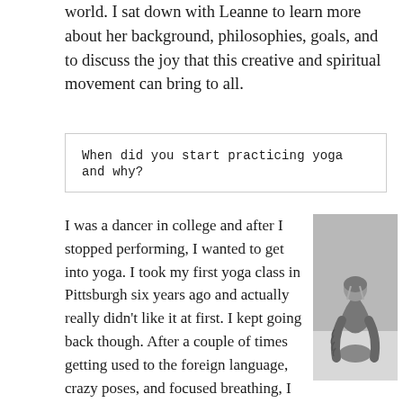world. I sat down with Leanne to learn more about her background, philosophies, goals, and to discuss the joy that this creative and spiritual movement can bring to all.
When did you start practicing yoga and why?
I was a dancer in college and after I stopped performing, I wanted to get into yoga. I took my first yoga class in Pittsburgh six years ago and actually really didn't like it at first. I kept going back though. After a couple of times getting used to the foreign language, crazy poses, and focused breathing, I began to enjoy it.
[Figure (photo): Black and white photograph of a person in a deep forward fold yoga pose, tattooed arms visible, head down]